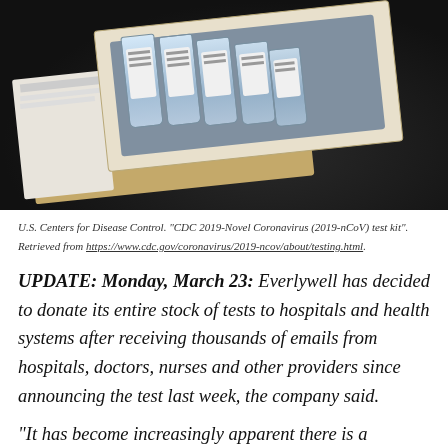[Figure (photo): Photo of a CDC 2019-Novel Coronavirus (2019-nCoV) test kit in an open box with vials nestled in foam, on a dark background.]
U.S. Centers for Disease Control. "CDC 2019-Novel Coronavirus (2019-nCoV) test kit". Retrieved from https://www.cdc.gov/coronavirus/2019-ncov/about/testing.html.
UPDATE: Monday, March 23: Everlywell has decided to donate its entire stock of tests to hospitals and health systems after receiving thousands of emails from hospitals, doctors, nurses and other providers since announcing the test last week, the company said.
"It has become increasingly apparent there is a desperate